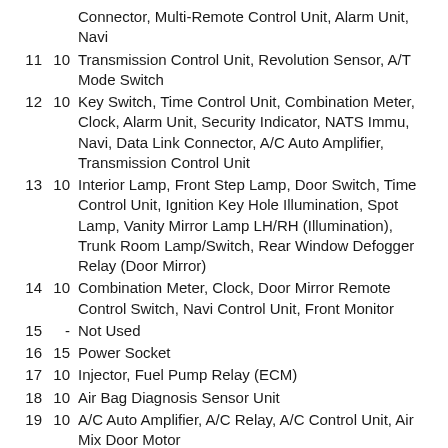| No. | Amp. | Circuit |
| --- | --- | --- |
|  |  | Connector, Multi-Remote Control Unit, Alarm Unit, Navi |
| 11 | 10 | Transmission Control Unit, Revolution Sensor, A/T Mode Switch |
| 12 | 10 | Key Switch, Time Control Unit, Combination Meter, Clock, Alarm Unit, Security Indicator, NATS Immu, Navi, Data Link Connector, A/C Auto Amplifier, Transmission Control Unit |
| 13 | 10 | Interior Lamp, Front Step Lamp, Door Switch, Time Control Unit, Ignition Key Hole Illumination, Spot Lamp, Vanity Mirror Lamp LH/RH (Illumination), Trunk Room Lamp/Switch, Rear Window Defogger Relay (Door Mirror) |
| 14 | 10 | Combination Meter, Clock, Door Mirror Remote Control Switch, Navi Control Unit, Front Monitor |
| 15 | - | Not Used |
| 16 | 15 | Power Socket |
| 17 | 10 | Injector, Fuel Pump Relay (ECM) |
| 18 | 10 | Air Bag Diagnosis Sensor Unit |
| 19 | 10 | A/C Auto Amplifier, A/C Relay, A/C Control Unit, Air Mix Door Motor |
|  |  | Park/Neutral Position Relay (Park/Neutral |